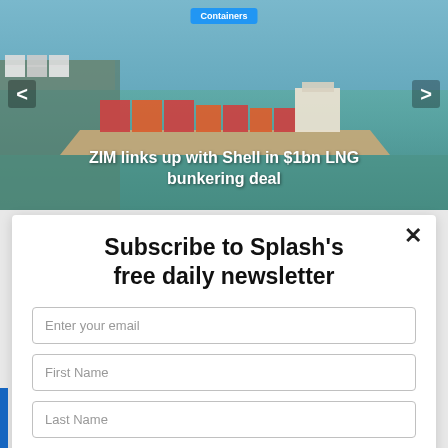[Figure (photo): Aerial/overhead view of a large container ship at a port with green-blue water, with a blue 'Containers' badge and navigation arrows visible]
ZIM links up with Shell in $1bn LNG bunkering deal
Subscribe to Splash's free daily newsletter
Enter your email
First Name
Last Name
Job Title
Company Name